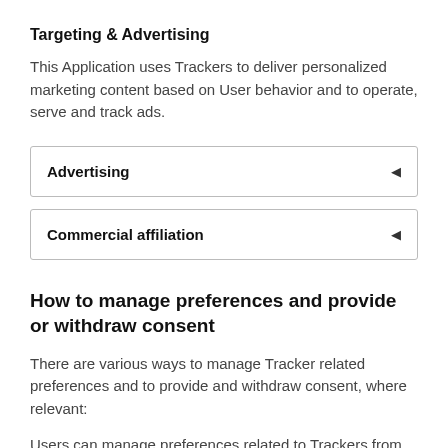Targeting & Advertising
This Application uses Trackers to deliver personalized marketing content based on User behavior and to operate, serve and track ads.
Advertising
Commercial affiliation
How to manage preferences and provide or withdraw consent
There are various ways to manage Tracker related preferences and to provide and withdraw consent, where relevant:
Users can manage preferences related to Trackers from directly within their own device settings, for example, by preventing the